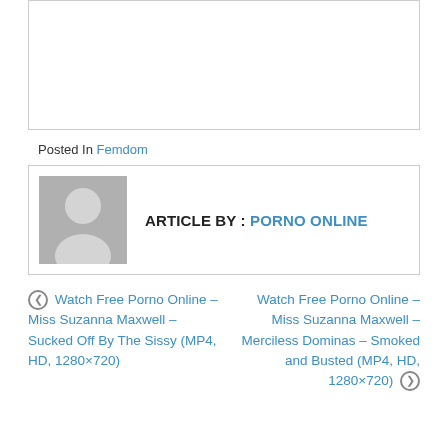[Figure (other): White blank image placeholder with light gray border]
Posted In Femdom
ARTICLE BY : PORNO ONLINE
◀ Watch Free Porno Online – Miss Suzanna Maxwell – Sucked Off By The Sissy (MP4, HD, 1280×720)
Watch Free Porno Online – Miss Suzanna Maxwell – Merciless Dominas – Smoked and Busted (MP4, HD, 1280×720) ▶